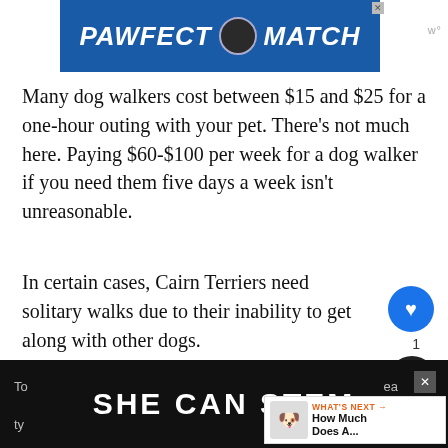[Figure (other): PAWFECT MATCH advertisement banner with blue background and cat logo]
Many dog walkers cost between $15 and $25 for a one-hour outing with your pet. There's not much here. Paying $60-$100 per week for a dog walker if you need them five days a week isn't unreasonable.
In certain cases, Cairn Terriers need solitary walks due to their inability to get along with other dogs.
Playing with toys is a favorite pastime for these dogs. Toys are a year-round expense for dogs, and this is no exception. A few are going to a few will disappear.
[Figure (other): SHE CAN STEM advertisement banner with dark background]